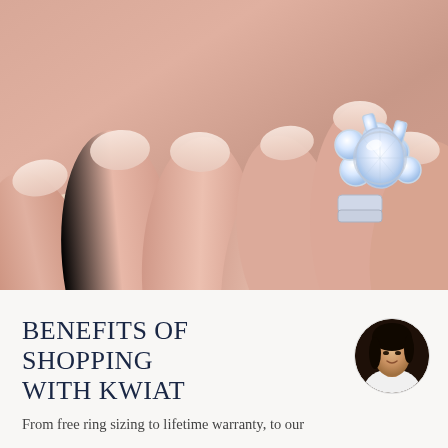[Figure (photo): Close-up photo of two hands resting together with manicured nails painted in a nude/blush color, wearing a large diamond cluster engagement ring with a central oval diamond and surrounding round and baguette diamonds set in platinum/white gold, resting on a soft fabric surface.]
BENEFITS OF SHOPPING WITH KWIAT
[Figure (photo): Small circular avatar photo of a woman with dark hair wearing a white top, smiling.]
From free ring sizing to lifetime warranty, to our